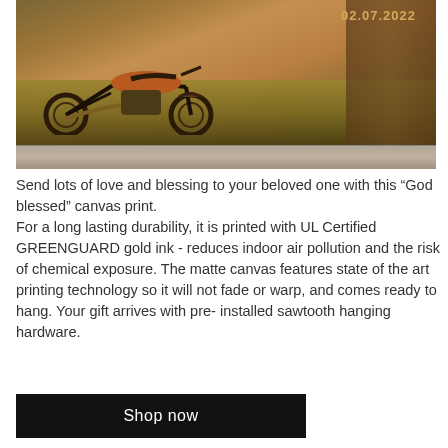[Figure (photo): A vintage/custom motorcycle parked in tall dry grass in front of an old wooden barn structure. The photo has a warm sepia-toned aesthetic. A date '02.07.2022' appears in the upper right corner of the photo in golden/amber text. Below the main photo area is a stone/brick wall strip.]
Send lots of love and blessing to your beloved one with this “God blessed” canvas print. For a long lasting durability, it is printed with UL Certified GREENGUARD gold ink - reduces indoor air pollution and the risk of chemical exposure. The matte canvas features state of the art printing technology so it will not fade or warp, and comes ready to hang. Your gift arrives with pre-installed sawtooth hanging hardware.
Shop now